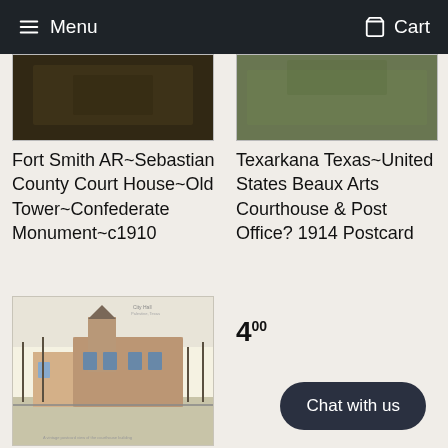Menu   Cart
[Figure (photo): Partial top view of Fort Smith courthouse postcard image, dark tones]
[Figure (photo): Partial top view of Texarkana courthouse postcard image, muted green tones]
Fort Smith AR~Sebastian County Court House~Old Tower~Confederate Monument~c1910
Texarkana Texas~United States Beaux Arts Courthouse & Post Office? 1914 Postcard
8.00
4.00
[Figure (photo): Vintage postcard image of a brick courthouse building with a clock tower, surrounded by bare trees]
Chat with us